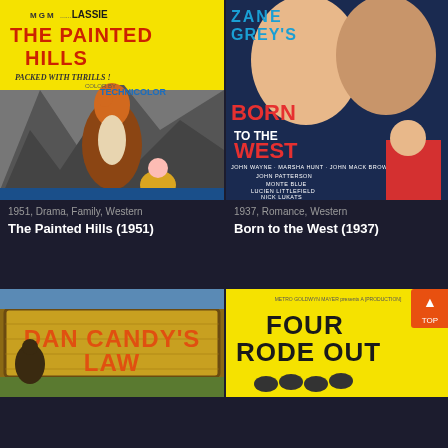[Figure (photo): Movie poster for The Painted Hills (1951), MGM Lassie film, yellow background with collie dog, text: THE PAINTED HILLS, PACKED WITH THRILLS!, COLOR BY TECHNICOLOR]
1951, Drama, Family, Western
The Painted Hills (1951)
[Figure (photo): Movie poster for Born to the West (1937), Zane Grey's, featuring John Wayne, Marsha Hunt, John Mack Brown, John Patterson, Monte Blue, Lucien Littlefield, Nick Lukats]
1937, Romance, Western
Born to the West (1937)
[Figure (photo): Movie poster for Dan Candy's Law, wooden sign style lettering on brown background]
[Figure (photo): Movie poster for Four Rode Out, yellow background with silhouettes of riders, Metro Goldwyn Mayer production]